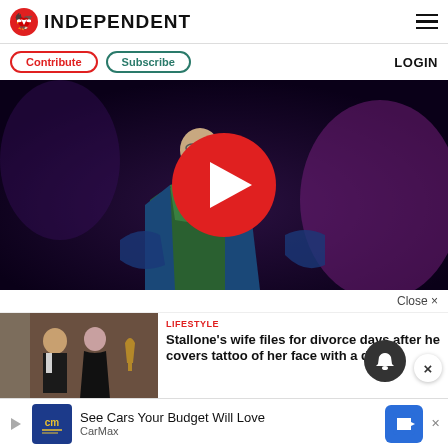INDEPENDENT
Contribute  Subscribe  LOGIN
[Figure (screenshot): Video player showing a person on stage wearing colorful jacket with a red play button overlay]
Close ×
[Figure (photo): Stallone and wife on red carpet]
LIFESTYLE
Stallone's wife files for divorce days after he covers tattoo of her face with a dog
[Figure (screenshot): CarMax advertisement: See Cars Your Budget Will Love - CarMax logo with blue arrow icon]